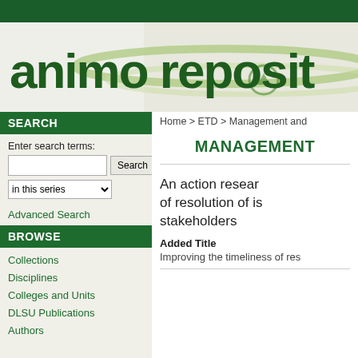[Figure (logo): Animo Repository logo with dark green text on light background with decorative green swoosh design]
Home > ETD > Management and
MANAGEMENT
SEARCH
Enter search terms:
in this series
Advanced Search
BROWSE
Collections
Disciplines
Colleges and Units
DLSU Publications
Authors
An action resear of resolution of is stakeholders
Added Title
Improving the timeliness of res